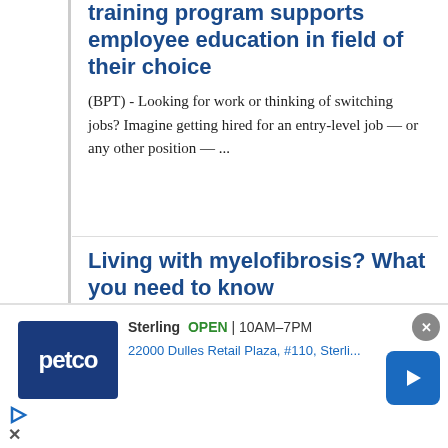training program supports employee education in field of their choice
(BPT) - Looking for work or thinking of switching jobs? Imagine getting hired for an entry-level job — or any other position — ...
Living with myelofibrosis? What you need to know
(BPT) - Myelofibrosis is a rare blood cancer that develops when a disruption occurs in blood stem cells, resulting in excessive scar tissue ...
5 tips for getting your brain in better shape
[Figure (screenshot): Petco advertisement banner showing store location in Sterling, OPEN 10AM-7PM, address 22000 Dulles Retail Plaza, #110, Sterli...]